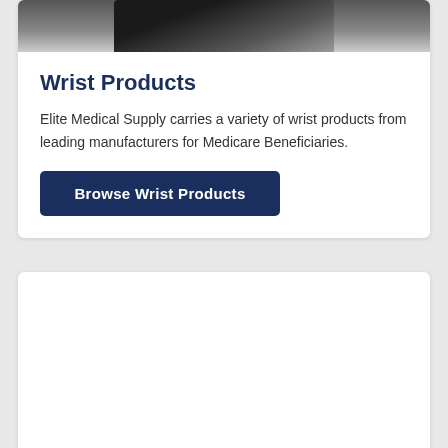[Figure (photo): Partial view of a wrist brace product against gray background, cropped at top of card]
Wrist Products
Elite Medical Supply carries a variety of wrist products from leading manufacturers for Medicare Beneficiaries.
Browse Wrist Products
[Figure (photo): Person wearing a blue sleeveless shirt with a black arm brace/elbow orthosis and a black shoulder strap/sling]